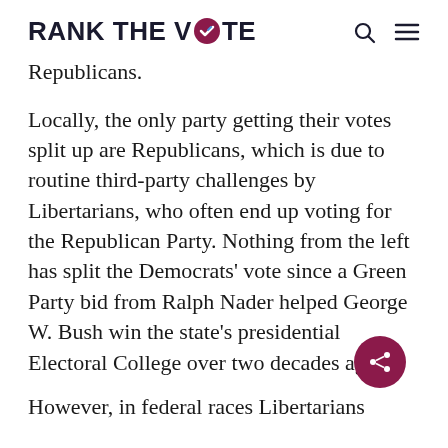RANK THE VOTE
Republicans.
Locally, the only party getting their votes split up are Republicans, which is due to routine third-party challenges by Libertarians, who often end up voting for the Republican Party. Nothing from the left has split the Democrats’ vote since a Green Party bid from Ralph Nader helped George W. Bush win the state’s presidential Electoral College over two decades ago.
However, in federal races Libertarians